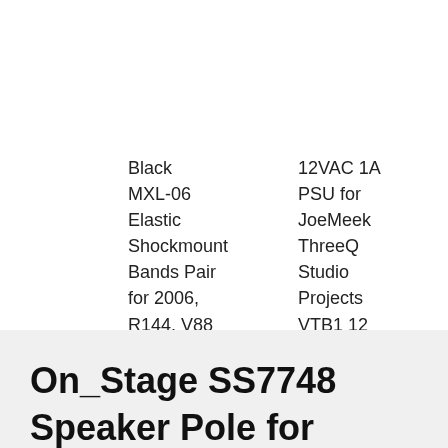Black MXL-06 Elastic Shockmount Bands Pair for 2006, R144, V88 MXL06 Shock Mount $9.99
12VAC 1A PSU for JoeMeek ThreeQ Studio Projects VTB1 12 Volt AC Adapter $29.99
On_Stage SS7748 Speaker Pole for